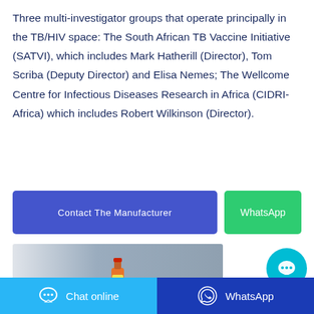Three multi-investigator groups that operate principally in the TB/HIV space: The South African TB Vaccine Initiative (SATVI), which includes Mark Hatherill (Director), Tom Scriba (Deputy Director) and Elisa Nemes; The Wellcome Centre for Infectious Diseases Research in Africa (CIDRI-Africa) which includes Robert Wilkinson (Director).
[Figure (other): Two CTA buttons: 'Contact The Manufacturer' (blue/indigo) and 'WhatsApp' (green)]
[Figure (photo): Photo of a hot sauce bottle against a grey background]
[Figure (other): Floating cyan chat bubble button with ellipsis icon]
Chat online   WhatsApp